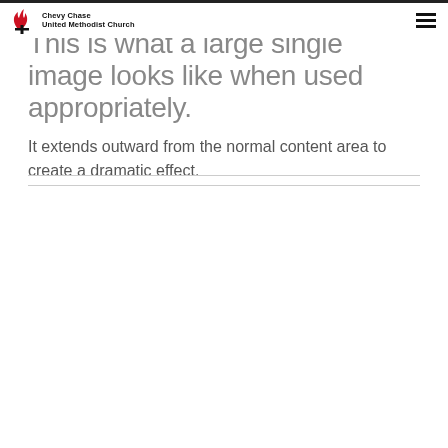Chevy Chase United Methodist Church
This is what a large single image looks like when used appropriately.
It extends outward from the normal content area to create a dramatic effect.